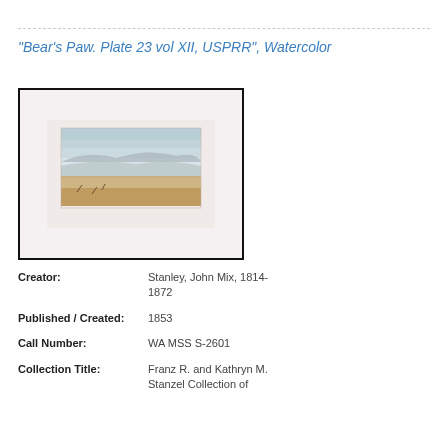“Bear’s Paw. Plate 23 vol XII, USPRR”, Watercolor
[Figure (photo): Photograph of a watercolor painting mounted on light purple-grey mat board, framed with black border. The watercolor depicts a landscape with a pale sky, distant hills or mountains, and a sandy foreground with sparse vegetation.]
Creator: Stanley, John Mix, 1814-1872
Published / Created: 1853
Call Number: WA MSS S-2601
Collection Title: Franz R. and Kathryn M. Stanzel Collection of